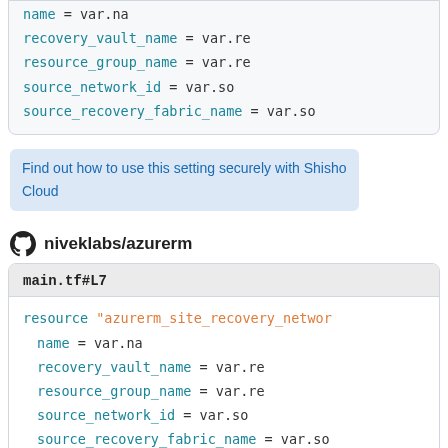code block top: name, recovery_vault_name, resource_group_name, source_network_id, source_recovery_fabric_name
Find out how to use this setting securely with Shisho Cloud
niveklabs/azurerm
main.tf#L7
code block bottom: resource azurerm_site_recovery_networ..., name = var.na, recovery_vault_name = var.re, resource_group_name = var.re, source_network_id = var.so, source_recovery_fabric_name = var.so